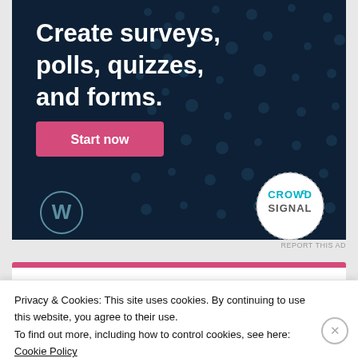[Figure (illustration): Advertisement banner with dark navy background and teal dot pattern. Shows text 'Create surveys, polls, quizzes, and forms.' with a pink 'Start now' button, WordPress logo bottom-left, and Crowdsignal circular badge bottom-right.]
REPORT THIS AD
Victoria Ray NB   Feb 3, 2020 — 9:25 am
Privacy & Cookies: This site uses cookies. By continuing to use this website, you agree to their use.
To find out more, including how to control cookies, see here: Cookie Policy